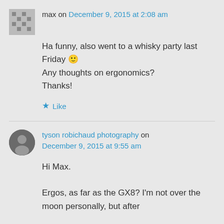max on December 9, 2015 at 2:08 am
Ha funny, also went to a whisky party last Friday 🙂 Any thoughts on ergonomics? Thanks!
Like
tyson robichaud photography on December 9, 2015 at 9:55 am
Hi Max. Ergos, as far as the GX8? I'm not over the moon personally, but after